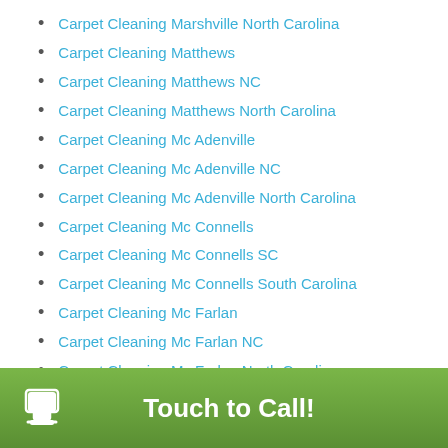Carpet Cleaning Marshville North Carolina
Carpet Cleaning Matthews
Carpet Cleaning Matthews NC
Carpet Cleaning Matthews North Carolina
Carpet Cleaning Mc Adenville
Carpet Cleaning Mc Adenville NC
Carpet Cleaning Mc Adenville North Carolina
Carpet Cleaning Mc Connells
Carpet Cleaning Mc Connells SC
Carpet Cleaning Mc Connells South Carolina
Carpet Cleaning Mc Farlan
Carpet Cleaning Mc Farlan NC
Carpet Cleaning Mc Farlan North Carolina
Carpet Cleaning Midland
Carpet Cleaning Midland NC
Carpet Cleaning Midland North Carolina
Carpet Cleaning Mineral Springs
Touch to Call!